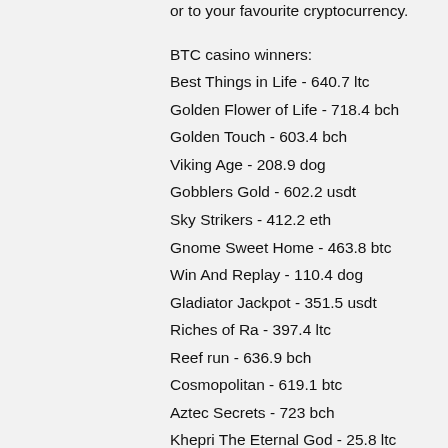or to your favourite cryptocurrency.
BTC casino winners:
Best Things in Life - 640.7 ltc
Golden Flower of Life - 718.4 bch
Golden Touch - 603.4 bch
Viking Age - 208.9 dog
Gobblers Gold - 602.2 usdt
Sky Strikers - 412.2 eth
Gnome Sweet Home - 463.8 btc
Win And Replay - 110.4 dog
Gladiator Jackpot - 351.5 usdt
Riches of Ra - 397.4 ltc
Reef run - 636.9 bch
Cosmopolitan - 619.1 btc
Aztec Secrets - 723 bch
Khepri The Eternal God - 25.8 ltc
Wild Rodeo - 184.6 dog
New Games:
Bitcasino.io Four Guardians